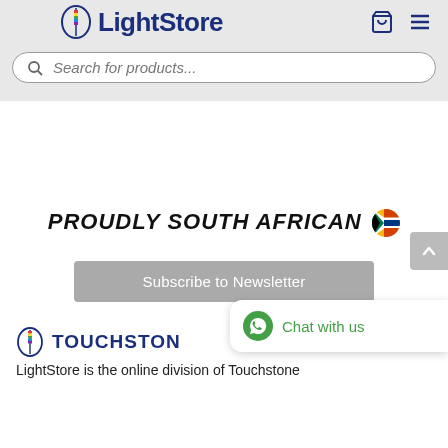LightStore
Search for products...
PROUDLY SOUTH AFRICAN 🇿🇦
Subscribe to Newsletter
[Figure (logo): Touchstone logo with stylized lighthouse/candle icon and the text TOUCHSTONE in small caps dark blue]
LightStore is the online division of Touchstone
Chat with us